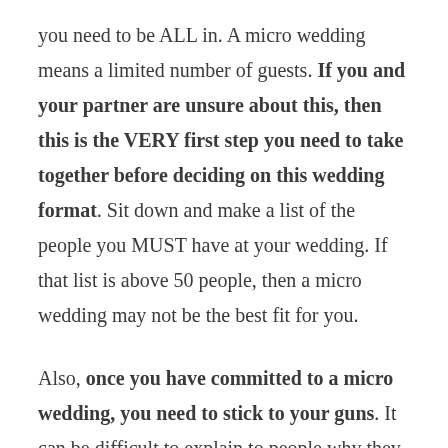you need to be ALL in. A micro wedding means a limited number of guests. If you and your partner are unsure about this, then this is the VERY first step you need to take together before deciding on this wedding format. Sit down and make a list of the people you MUST have at your wedding. If that list is above 50 people, then a micro wedding may not be the best fit for you.
Also, once you have committed to a micro wedding, you need to stick to your guns. It can be difficult to explain to people why they may not have received an invite, but don't feel